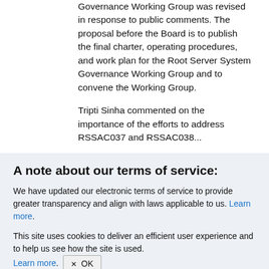Governance Working Group was revised in response to public comments. The proposal before the Board is to publish the final charter, operating procedures, and work plan for the Root Server System Governance Working Group and to convene the Working Group.
Tripti Sinha commented on the importance of the efforts to address RSSAC037 and RSSAC038...
A note about our terms of service:
We have updated our electronic terms of service to provide greater transparency and align with laws applicable to us. Learn more.
This site uses cookies to deliver an efficient user experience and to help us see how the site is used. Learn more. OK